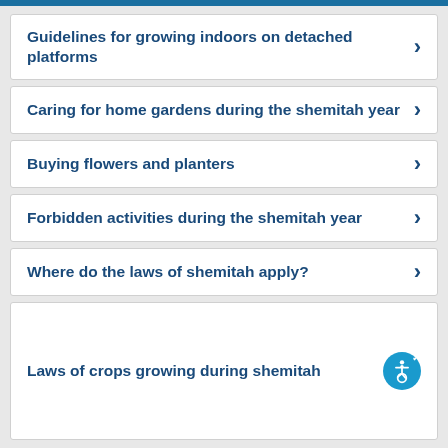Guidelines for growing indoors on detached platforms
Caring for home gardens during the shemitah year
Buying flowers and planters
Forbidden activities during the shemitah year
Where do the laws of shemitah apply?
Laws of crops growing during shemitah